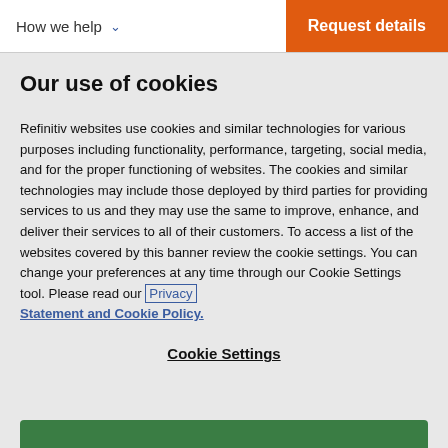How we help
Request details
Our use of cookies
Refinitiv websites use cookies and similar technologies for various purposes including functionality, performance, targeting, social media, and for the proper functioning of websites. The cookies and similar technologies may include those deployed by third parties for providing services to us and they may use the same to improve, enhance, and deliver their services to all of their customers. To access a list of the websites covered by this banner review the cookie settings. You can change your preferences at any time through our Cookie Settings tool. Please read our Privacy Statement and Cookie Policy.
Cookie Settings